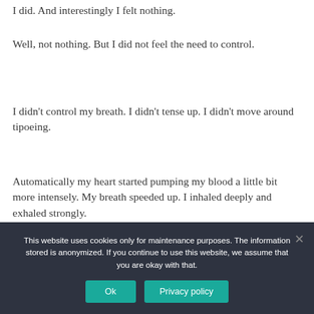I did. And interestingly I felt nothing.
Well, not nothing. But I did not feel the need to control.
I didn't control my breath. I didn't tense up. I didn't move around tipoeing.
Automatically my heart started pumping my blood a little bit more intensely. My breath speeded up. I inhaled deeply and exhaled strongly.
My body took over. Within a minute I was wide-awake
This website uses cookies only for maintenance purposes. The information stored is anonymized. If you continue to use this website, we assume that you are okay with that.